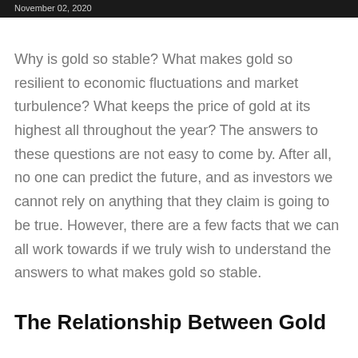November 02, 2020
Why is gold so stable? What makes gold so resilient to economic fluctuations and market turbulence? What keeps the price of gold at its highest all throughout the year? The answers to these questions are not easy to come by. After all, no one can predict the future, and as investors we cannot rely on anything that they claim is going to be true. However, there are a few facts that we can all work towards if we truly wish to understand the answers to what makes gold so stable.
The Relationship Between Gold